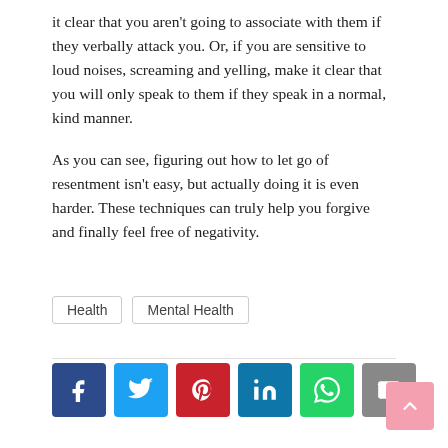it clear that you aren't going to associate with them if they verbally attack you. Or, if you are sensitive to loud noises, screaming and yelling, make it clear that you will only speak to them if they speak in a normal, kind manner.
As you can see, figuring out how to let go of resentment isn't easy, but actually doing it is even harder. These techniques can truly help you forgive and finally feel free of negativity.
Health
Mental Health
[Figure (infographic): Social share buttons: Facebook (dark blue), Twitter (blue), Pinterest (red), LinkedIn (dark blue), WhatsApp (green), Email (gray)]